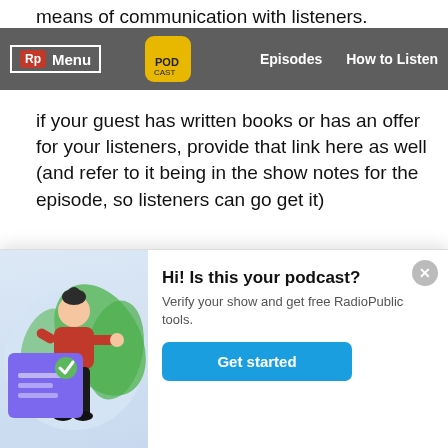means of communication with listeners.
Rp Menu | [logo image] | Episodes | How to Listen
if your guest has written books or has an offer for your listeners, provide that link here as well (and refer to it being in the show notes for the episode, so listeners can go get it)
Contact info for you
Podcast listeners build a one-sided relationship with you, the host of their favorite podcast. So make it easy for them to connect with you.
[Figure (illustration): Illustration of a woman standing next to a large document/checklist with a checkmark, with green leaves in the background. Used as part of a podcast verification popup.]
Hi! Is this your podcast?
Verify your show and get free RadioPublic tools.
Get started